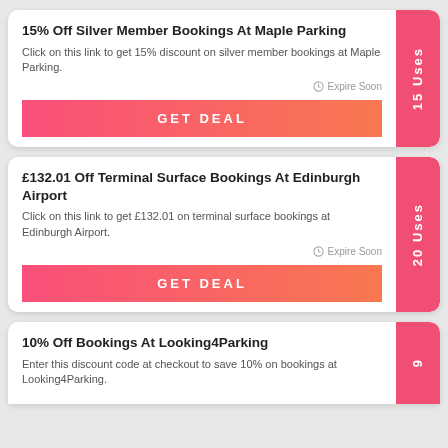15% Off Silver Member Bookings At Maple Parking
Click on this link to get 15% discount on silver member bookings at Maple Parking.
Expire Soon
GET DEAL
15 Uses
£132.01 Off Terminal Surface Bookings At Edinburgh Airport
Click on this link to get £132.01 on terminal surface bookings at Edinburgh Airport.
Expire Soon
GET DEAL
20 Uses
10% Off Bookings At Looking4Parking
Enter this discount code at checkout to save 10% on bookings at Looking4Parking.
9